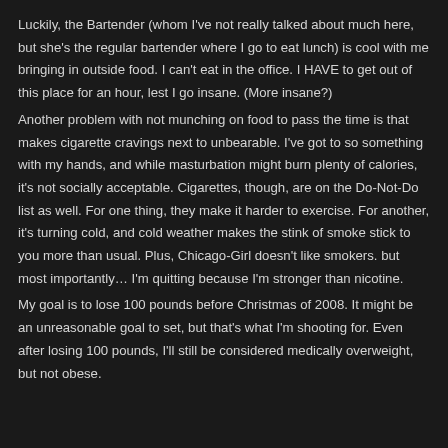Luckily, the Bartender (whom I've not really talked about much here, but she's the regular bartender where I go to eat lunch) is cool with me bringing in outside food. I can't eat in the office. I HAVE to get out of this place for an hour, lest I go insane. (More insane?)
Another problem with not munching on food to pass the time is that makes cigarette cravings next to unbearable. I've got to so something with my hands, and while masturbation might burn plenty of calories, it's not socially acceptable. Cigarettes, though, are on the Do-Not-Do list as well. For one thing, they make it harder to exercise. For another, it's turning cold, and cold weather makes the stink of smoke stick to you more than usual. Plus, Chicago-Girl doesn't like smokers. but most importantly… I'm quitting because I'm stronger than nicotine.
My goal is to lose 100 pounds before Christmas of 2008. It might be an unreasonable goal to set, but that's what I'm shooting for. Even after losing 100 pounds, I'll still be considered medically overweight, but not obese.